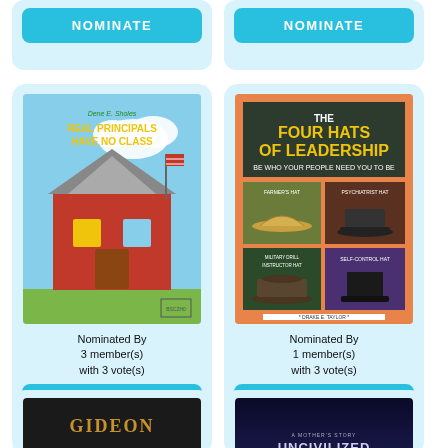[Figure (other): NOMINATE button for first book card, partially visible at top]
[Figure (other): NOMINATE button for second book card, partially visible at top]
[Figure (illustration): Book cover: Real Principals Have No Class by Dene E. Sholes, illustrated children's book with school building]
Nominated By 3 member(s) with 3 vote(s)
[Figure (other): NOMINATE button below Real Principals Have No Class]
[Figure (illustration): Book cover: The Four Hats of Leadership by Drake E. Taylor, orange cover with four hats]
Nominated By 1 member(s) with 3 vote(s)
[Figure (other): NOMINATE button below The Four Hats of Leadership]
[Figure (illustration): Book cover: Gideon, partially visible at bottom left, dark cover with gold title text]
[Figure (illustration): Book cover: Uncivilized (A Mother's Story), partially visible at bottom right, dark blue cover]